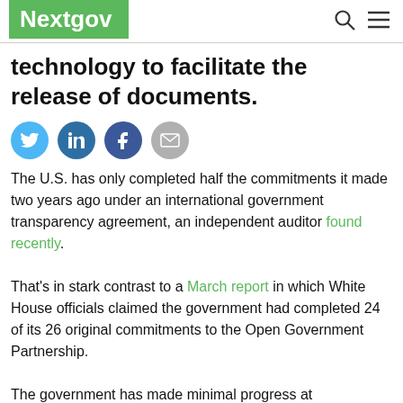Nextgov
technology to facilitate the release of documents.
[Figure (other): Social media sharing icons: Twitter, LinkedIn, Facebook, Email]
The U.S. has only completed half the commitments it made two years ago under an international government transparency agreement, an independent auditor found recently.
That's in stark contrast to a March report in which White House officials claimed the government had completed 24 of its 26 original commitments to the Open Government Partnership.
The government has made minimal progress at declassifying benign national security records or using new technology to make it easier for people to request documents under the Freedom of Information Act, according to the independent assessment.